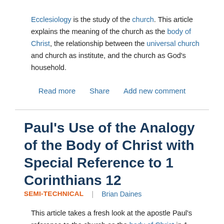Ecclesiology is the study of the church. This article explains the meaning of the church as the body of Christ, the relationship between the universal church and church as institute, and the church as God's household.
Read more   Share   Add new comment
Paul's Use of the Analogy of the Body of Christ with Special Reference to 1 Corinthians 12
SEMI-TECHNICAL | Brian Daines
This article takes a fresh look at the apostle Paul's reference to the church as the body of Christ in 1 Corinthians 12 . He